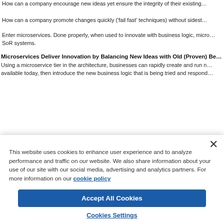How can a company encourage new ideas yet ensure the integrity of their existing…
How can a company promote changes quickly ('fail fast' techniques) without sidest…
Enter microservices. Done properly, when used to innovate with business logic, micro… SoR systems.
Microservices Deliver Innovation by Balancing New Ideas with Old (Proven) Be…
Using a microservice tier in the architecture, businesses can rapidly create and run n… available today, then introduce the new business logic that is being tried and respond…
[Figure (screenshot): Screenshot of website content showing icons including a circular avatar, a green box with number 4, an orange grid icon, and a partial phone icon]
This website uses cookies to enhance user experience and to analyze performance and traffic on our website. We also share information about your use of our site with our social media, advertising and analytics partners. For more information on our cookie policy
Accept All Cookies
Cookies Settings